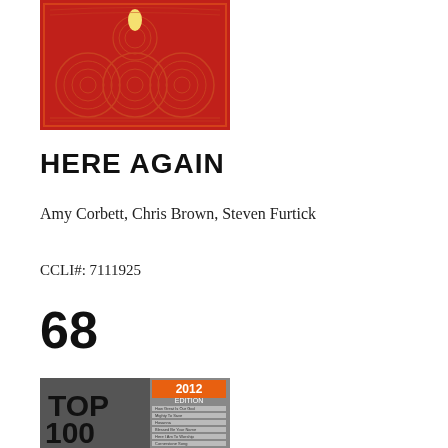[Figure (illustration): Red album cover with gold circular mandala patterns and a white teardrop/flame shape at top center]
HERE AGAIN
Amy Corbett, Chris Brown, Steven Furtick
CCLI#: 7111925
68
[Figure (illustration): CCLI Top 100 2012 Edition booklet cover with orange accent showing song list]